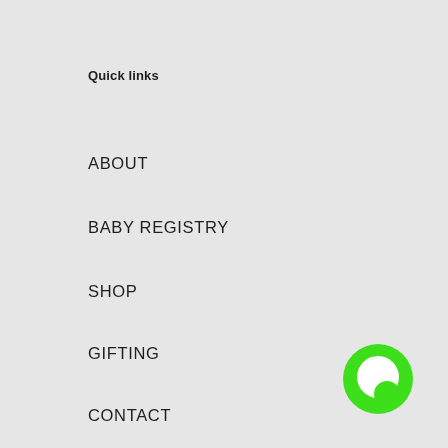Quick links
ABOUT
BABY REGISTRY
SHOP
GIFTING
CONTACT
T&C
Shipping Policy
[Figure (illustration): Green circular chat bubble icon in the bottom right corner]